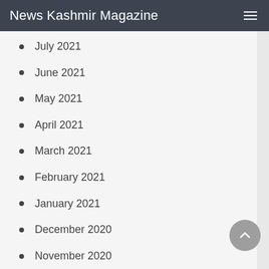News Kashmir Magazine
July 2021
June 2021
May 2021
April 2021
March 2021
February 2021
January 2021
December 2020
November 2020
October 2020
July 2020
June 2020
July 2019